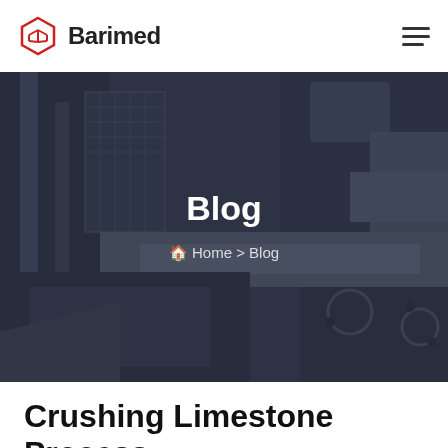Barimed
[Figure (photo): Dark industrial machinery (crusher equipment) serving as a hero banner background with dark blue-grey overlay]
Blog
Home > Blog
Crushing Limestone Process